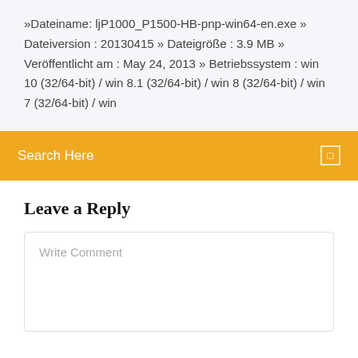»Dateiname: ljP1000_P1500-HB-pnp-win64-en.exe » Dateiversion : 20130415 » Dateigröße : 3.9 MB » Veröffentlicht am : May 24, 2013 » Betriebssystem : win 10 (32/64-bit) / win 8.1 (32/64-bit) / win 8 (32/64-bit) / win 7 (32/64-bit) / win
Search Here
Leave a Reply
Write Comment